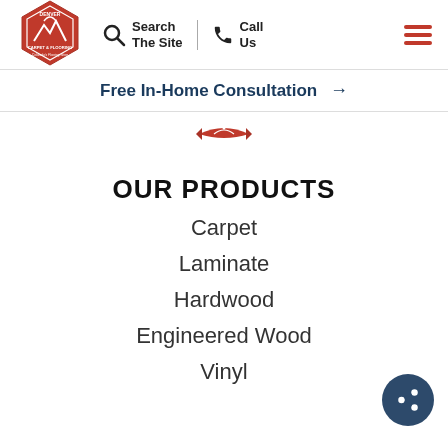[Figure (logo): Denver Carpet & Flooring hexagonal red logo with mountain graphic]
Search The Site | Call Us | Menu
Free In-Home Consultation →
[Figure (illustration): Small red ribbon/banner emblem]
OUR PRODUCTS
Carpet
Laminate
Hardwood
Engineered Wood
Vinyl